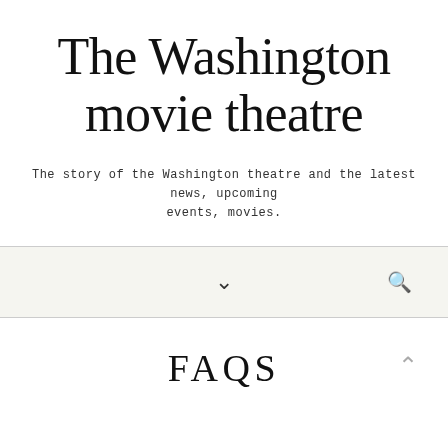The Washington movie theatre
The story of the Washington theatre and the latest news, upcoming events, movies.
FAQS